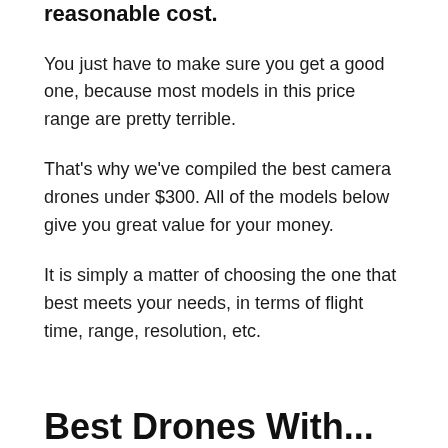reasonable cost.
You just have to make sure you get a good one, because most models in this price range are pretty terrible.
That's why we've compiled the best camera drones under $300. All of the models below give you great value for your money.
It is simply a matter of choosing the one that best meets your needs, in terms of flight time, range, resolution, etc.
Best Drones With...